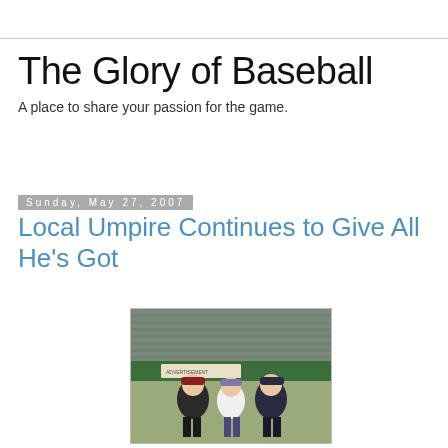The Glory of Baseball
A place to share your passion for the game.
Sunday, May 27, 2007
Local Umpire Continues to Give All He's Got
[Figure (photo): Three people posing together on a baseball field. Two men wearing baseball caps and a woman in white top wearing a cap, standing in front of stadium seating and green outfield wall with advertising banners.]